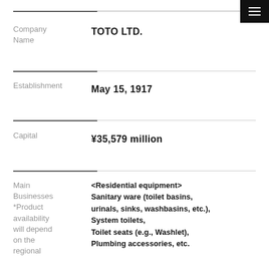Company Name
TOTO LTD.
Establishment
May 15, 1917
Capital
¥35,579 million
Main Businesses *Product availability will depend on the regional
<Residential equipment> Sanitary ware (toilet basins, urinals, sinks, washbasins, etc.), System toilets, Toilet seats (e.g., Washlet), Plumbing accessories, etc.